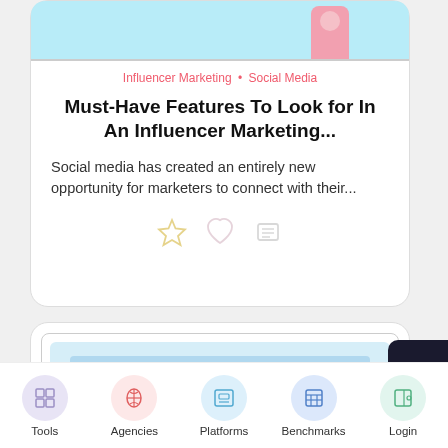[Figure (screenshot): Top portion of a blog post card showing a light blue banner with a pink illustrated figure]
Influencer Marketing • Social Media
Must-Have Features To Look for In An Influencer Marketing...
Social media has created an entirely new opportunity for marketers to connect with their...
[Figure (screenshot): Bottom card showing a nested card with a light blue content area and horizontal bars]
[Figure (infographic): Navigation bar with icons for Tools, Agencies, Platforms, Benchmarks, Login]